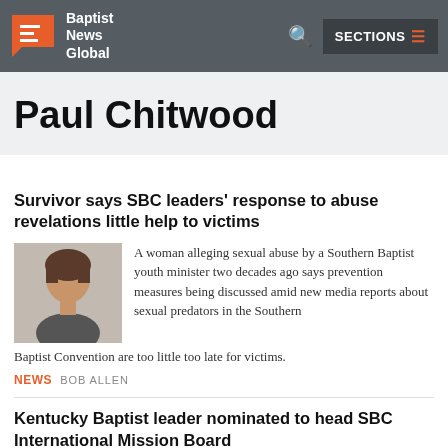Baptist News Global — SECTIONS
Paul Chitwood
Survivor says SBC leaders' response to abuse revelations little help to victims
[Figure (photo): Photo of a woman with short dark hair]
A woman alleging sexual abuse by a Southern Baptist youth minister two decades ago says prevention measures being discussed amid new media reports about sexual predators in the Southern Baptist Convention are too little too late for victims.
NEWS BOB ALLEN
Kentucky Baptist leader nominated to head SBC International Mission Board
[Figure (photo): Photo of Paul Chitwood]
Paul Chitwood, executive director of the Kentucky